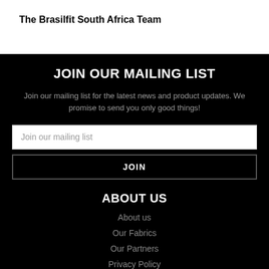The Brasilfit South Africa Team
JOIN OUR MAILING LIST
Join our mailing list for the latest news and product updates. We promise to send you only good things!
Join our mailing list
JOIN
ABOUT US
About us
Our Fabrics
Our Partners
Privacy Policy